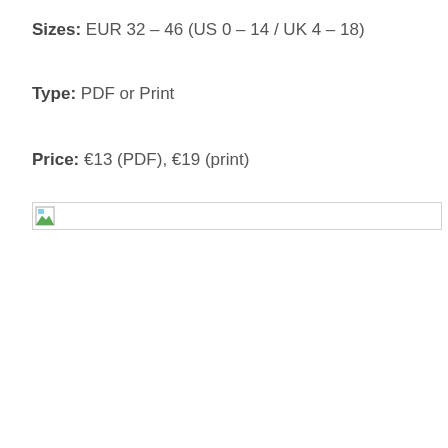Sizes: EUR 32 – 46 (US 0 – 14 / UK 4 – 18)
Type: PDF or Print
Price: €13 (PDF), €19 (print)
[Figure (photo): Broken/missing image placeholder with border]